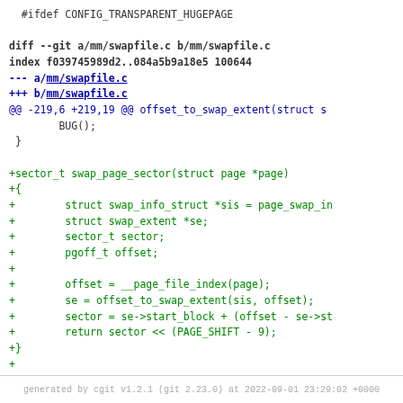#ifdef CONFIG_TRANSPARENT_HUGEPAGE

diff --git a/mm/swapfile.c b/mm/swapfile.c
index f039745989d2..084a5b9a18e5 100644
--- a/mm/swapfile.c
+++ b/mm/swapfile.c
@@ -219,6 +219,19 @@ offset_to_swap_extent(struct s
        BUG();
 }

+sector_t swap_page_sector(struct page *page)
+{
+        struct swap_info_struct *sis = page_swap_in
+        struct swap_extent *se;
+        sector_t sector;
+        pgoff_t offset;
+
+        offset = __page_file_index(page);
+        se = offset_to_swap_extent(sis, offset);
+        sector = se->start_block + (offset - se->st
+        return sector << (PAGE_SHIFT - 9);
+}
+
  /*
   * swap allocation tell device that a cluster of s
   * to allow the swap device to optimize its wear-l
generated by cgit v1.2.1 (git 2.23.0) at 2022-09-01 23:29:02 +0000